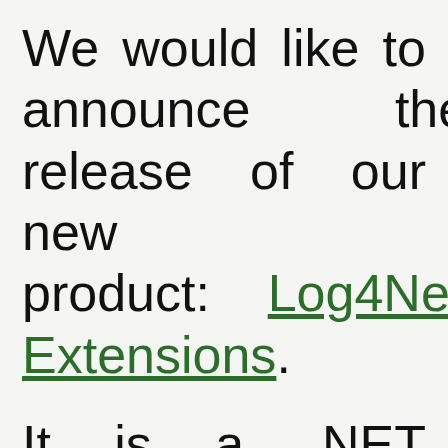We would like to announce the release of our new product: Log4Net Extensions. It is a .NET library that enables